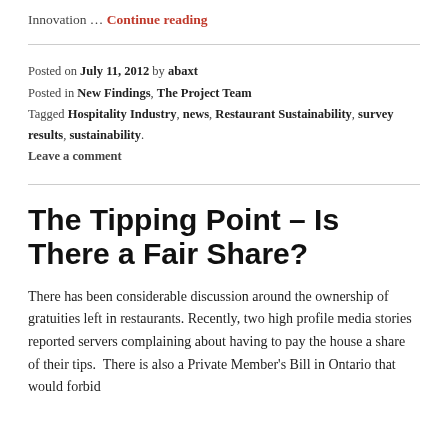Innovation … Continue reading
Posted on July 11, 2012 by abaxt
Posted in New Findings, The Project Team
Tagged Hospitality Industry, news, Restaurant Sustainability, survey results, sustainability.
Leave a comment
The Tipping Point – Is There a Fair Share?
There has been considerable discussion around the ownership of gratuities left in restaurants. Recently, two high profile media stories reported servers complaining about having to pay the house a share of their tips.  There is also a Private Member's Bill in Ontario that would forbid